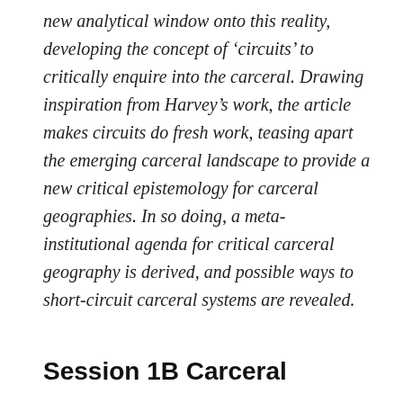new analytical window onto this reality, developing the concept of 'circuits' to critically enquire into the carceral. Drawing inspiration from Harvey's work, the article makes circuits do fresh work, teasing apart the emerging carceral landscape to provide a new critical epistemology for carceral geographies. In so doing, a meta-institutional agenda for critical carceral geography is derived, and possible ways to short-circuit carceral systems are revealed.
Session 1B Carceral